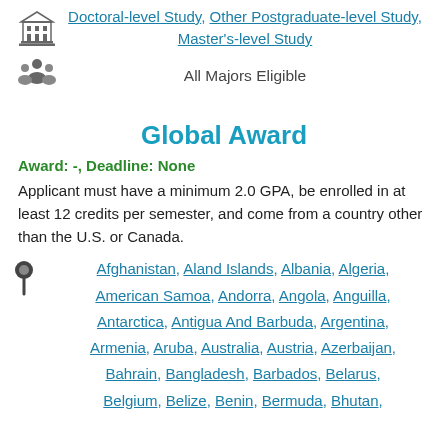Doctoral-level Study, Other Postgraduate-level Study, Master's-level Study
All Majors Eligible
Global Award
Award: -, Deadline: None
Applicant must have a minimum 2.0 GPA, be enrolled in at least 12 credits per semester, and come from a country other than the U.S. or Canada.
Afghanistan, Aland Islands, Albania, Algeria, American Samoa, Andorra, Angola, Anguilla, Antarctica, Antigua And Barbuda, Argentina, Armenia, Aruba, Australia, Austria, Azerbaijan, Bahrain, Bangladesh, Barbados, Belarus, Belgium, Belize, Benin, Bermuda, Bhutan,